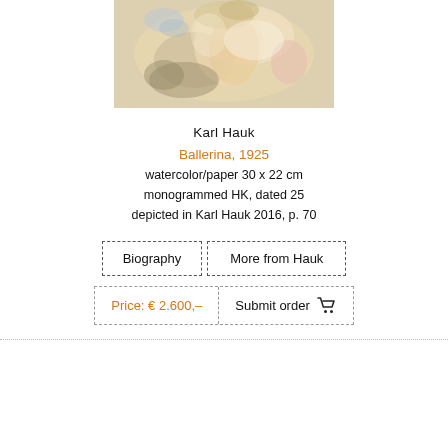[Figure (photo): Watercolor painting of a ballerina, warm beige and cream tones with hints of pink and blue, loosely rendered figure]
Karl Hauk
Ballerina, 1925
watercolor/paper 30 x 22 cm
monogrammed HK, dated 25
depicted in Karl Hauk 2016, p. 70
Biography | More from Hauk
Price: € 2.600,–  Submit order